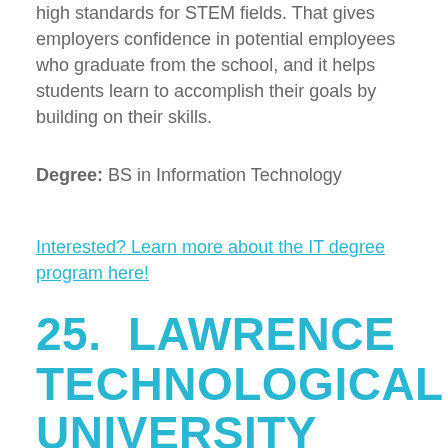high standards for STEM fields. That gives employers confidence in potential employees who graduate from the school, and it helps students learn to accomplish their goals by building on their skills.
Degree: BS in Information Technology
Interested? Learn more about the IT degree program here!
25. LAWRENCE TECHNOLOGICAL UNIVERSITY